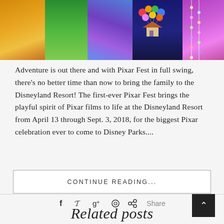[Figure (photo): Colorful photo collage strip of Pixar Fest at Disneyland Resort, featuring illuminated structures, balloons, and a house from the movie 'Up', with vibrant purples, greens, oranges, and blues against a dark night sky.]
Adventure is out there and with Pixar Fest in full swing, there's no better time than now to bring the family to the Disneyland Resort! The first-ever Pixar Fest brings the playful spirit of Pixar films to life at the Disneyland Resort from April 13 through Sept. 3, 2018, for the biggest Pixar celebration ever to come to Disney Parks....
CONTINUE READING...
f  𝑓  g+  ⊕  ◁  Share
Related posts